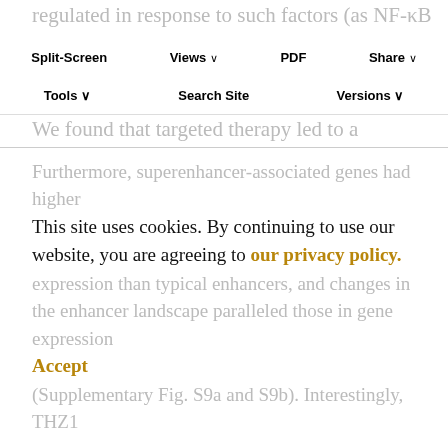regulated in response to such factors (as NF-κB pathway activation and more prominently in response to inhibition by MEK1/2 in triple-negative breast cancer (92).
Split-Screen | Views | PDF | Share | Tools | Search Site | Versions
We found that targeted therapy led to a redistribution of BRD4 occupancy, and the addition of THZ1 attenuated the gain and loss of BRD4 signal elicited by targeted therapy at superenhancers, as well as typical enhancers (Fig. 3C–E; Supplementary Fig. S8a–S8c). In line with our transcriptome findings, changes in BRD4 signal density induced by targeted therapy varied greatly across models (Supplementary Fig. S8c), and these changes were largely maintained at 7 days (Supplementary Fig. S8d).
Furthermore, superenhancer-associated genes had higher expression than typical enhancers, and changes in the enhancer landscape paralleled those in gene expression (Supplementary Fig. S9a and S9b). Interestingly, THZ1
This site uses cookies. By continuing to use our website, you are agreeing to our privacy policy. Accept